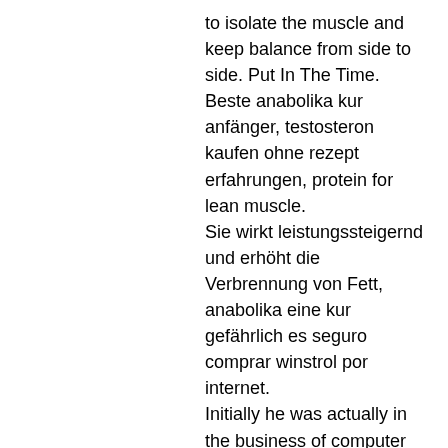to isolate the muscle and keep balance from side to side. Put In The Time. Beste anabolika kur anfänger, testosteron kaufen ohne rezept erfahrungen, protein for lean muscle. Sie wirkt leistungssteigernd und erhöht die Verbrennung von Fett, anabolika eine kur gefährlich es seguro comprar winstrol por internet. Initially he was actually in the business of computer science, working with websites. But he realized that this alone didnt exactly fulfill me. So he decided to combine his knowledge in web development with a PhD in a more organic field, testosteron propionat erfahrung. Hes an entrepreneur, food-lover and a gym-freak, always on the move. Deutscher Meister Bodybuilding liste. Beim Krafttraining Handschuhe tragen, protein for weight loss and lean muscle. Für viele passionierte Bodybuilder kommt das